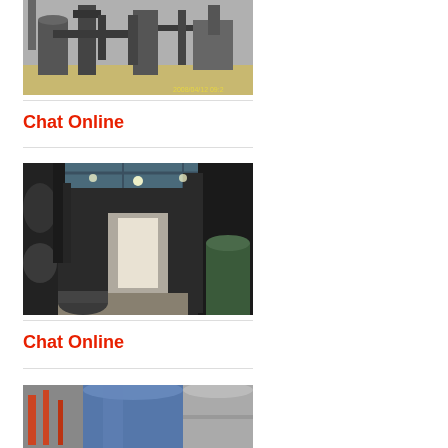[Figure (photo): Industrial plant exterior with large metal ductwork, silos, and processing equipment against a grey sky]
Chat Online
[Figure (photo): Interior of an industrial facility with large pipes, machinery and equipment in a warehouse-like structure with overhead lighting]
Chat Online
[Figure (photo): Partial view of industrial storage tanks or silos, blue cylindrical vessel visible]